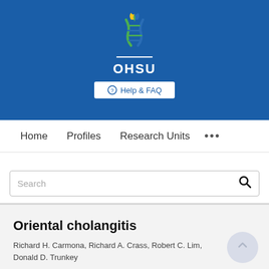[Figure (logo): OHSU (Oregon Health & Science University) logo with DNA helix and flame design on blue background, with white OHSU text below]
⊕  Help & FAQ
Home   Profiles   Research Units   ...
Search
Oriental cholangitis
Richard H. Carmona, Richard A. Crass, Robert C. Lim, Donald D. Trunkey